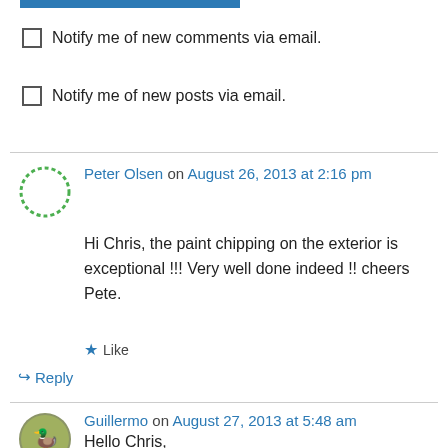[Figure (other): Blue progress bar at the top of the page]
Notify me of new comments via email.
Notify me of new posts via email.
Peter Olsen on August 26, 2013 at 2:16 pm
Hi Chris, the paint chipping on the exterior is exceptional !!! Very well done indeed !! cheers Pete.
★ Like
↪ Reply
Guillermo on August 27, 2013 at 5:48 am
Hello Chris,